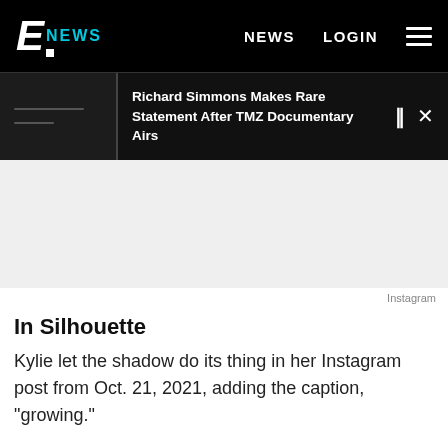E! NEWS | NEWS | LOGIN
Richard Simmons Makes Rare Statement After TMZ Documentary Airs
[Figure (photo): Gray placeholder image area representing an Instagram photo (silhouette image)]
Instagram
In Silhouette
Kylie let the shadow do its thing in her Instagram post from Oct. 21, 2021, adding the caption, "growing."